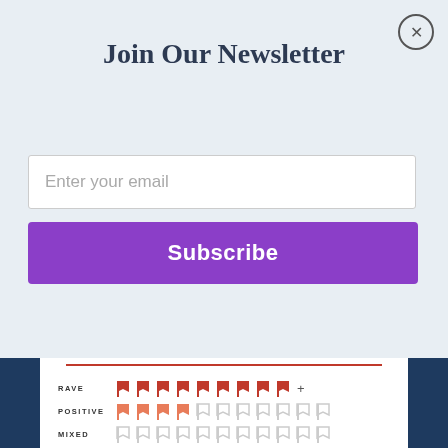Join Our Newsletter
Enter your email
Subscribe
[Figure (infographic): Rating chart showing RAVE, POSITIVE, MIXED, PAN rows with bookmark/flag icons. RAVE row has 9 filled red flags plus a + sign. POSITIVE row has 4 filled orange flags and 7 empty flags. MIXED row has 10 empty flags. PAN row has 10 empty flags.]
RAVE   HARRIET LANE,   THE NEW YORK TIMES BOOK REVIEW
“Before too long, the novel is exhibiting the vivid unreliability of a fever dream.”